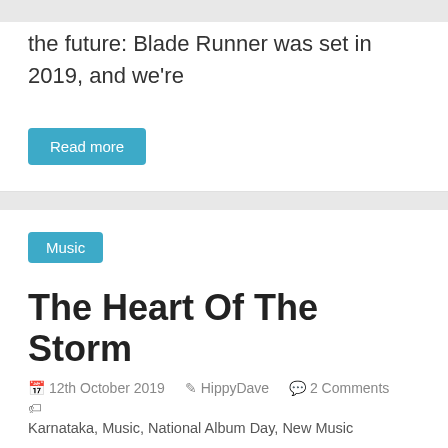the future: Blade Runner was set in 2019, and we're
Read more
Music
The Heart Of The Storm
12th October 2019  HippyDave  2 Comments  Karnataka, Music, National Album Day, New Music
Today is 'National Album Day', apparently. Leaving aside the observation that every day is National Album Day for some of
Read more